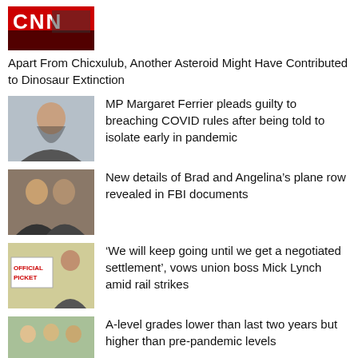[Figure (photo): CNN logo/thumbnail image]
Apart From Chicxulub, Another Asteroid Might Have Contributed to Dinosaur Extinction
[Figure (photo): Photo of MP Margaret Ferrier]
MP Margaret Ferrier pleads guilty to breaching COVID rules after being told to isolate early in pandemic
[Figure (photo): Photo of Brad Pitt and Angelina Jolie]
New details of Brad and Angelina’s plane row revealed in FBI documents
[Figure (photo): Photo of Mick Lynch at picket line with Official Picket sign]
‘We will keep going until we get a negotiated settlement’, vows union boss Mick Lynch amid rail strikes
[Figure (photo): Photo of students celebrating A-level results]
A-level grades lower than last two years but higher than pre-pandemic levels